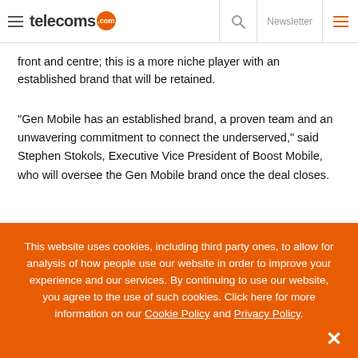telecoms.com | Newsletter
front and centre; this is a more niche player with an established brand that will be retained.
“Gen Mobile has an established brand, a proven team and an unwavering commitment to connect the underserved,” said Stephen Stokols, Executive Vice President of Boost Mobile, who will oversee the Gen Mobile brand once the deal closes.
This website uses cookies, including third party ones, to allow for analysis of how people people use our website in order to improve your experience and our services. By continuing to use our website, you agree to the use of such cookies. Click here for more information on our Cookie Policy and Privacy Policy.